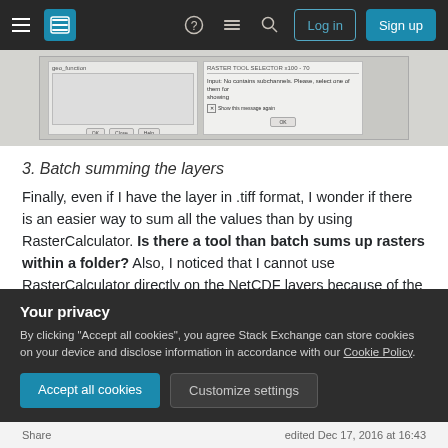[Figure (screenshot): Navigation bar with hamburger menu, Stack Exchange logo, icons for help/chat/search, and Log in / Sign up buttons on dark background]
[Figure (screenshot): Partial screenshot of a GIS dialog box with subsets/layers panel and an error message dialog]
3. Batch summing the layers
Finally, even if I have the layer in .tiff format, I wonder if there is an easier way to sum all the values than by using RasterCalculator. Is there a tool than batch sums up rasters within a folder? Also, I noticed that I cannot use RasterCalculator directly on the NetCDF layers because of the file ...
Your privacy
By clicking "Accept all cookies", you agree Stack Exchange can store cookies on your device and disclose information in accordance with our Cookie Policy.
Accept all cookies
Customize settings
Share		edited Dec 17, 2016 at 16:43